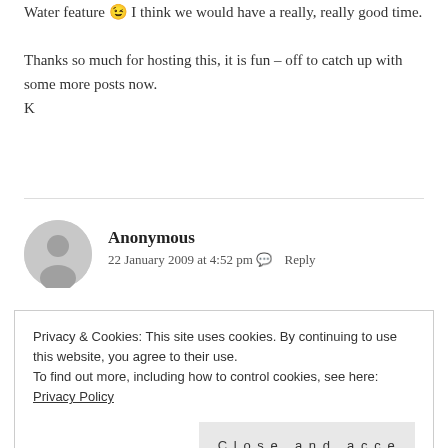Water feature 😉 I think we would have a really, really good time.

Thanks so much for hosting this, it is fun – off to catch up with some more posts now.
K
Anonymous
22 January 2009 at 4:52 pm 💬 Reply
Privacy & Cookies: This site uses cookies. By continuing to use this website, you agree to their use.
To find out more, including how to control cookies, see here: Privacy Policy

Close and accept